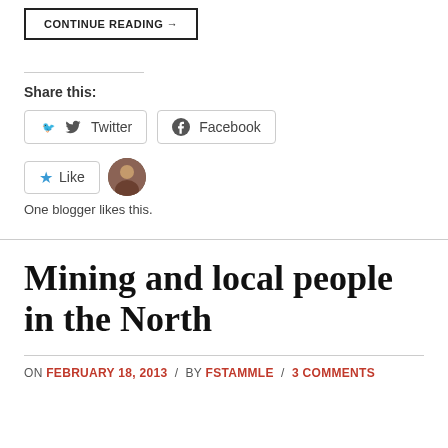CONTINUE READING →
Share this:
Twitter  Facebook
Like  One blogger likes this.
Mining and local people in the North
ON FEBRUARY 18, 2013 / BY FSTAMMLE / 3 COMMENTS